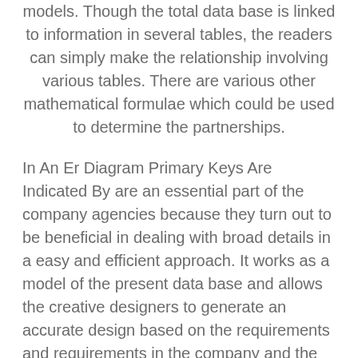models. Though the total data base is linked to information in several tables, the readers can simply make the relationship involving various tables. There are various other mathematical formulae which could be used to determine the partnerships.
In An Er Diagram Primary Keys Are Indicated By are an essential part of the company agencies because they turn out to be beneficial in dealing with broad details in a easy and efficient approach. It works as a model of the present data base and allows the creative designers to generate an accurate design based on the requirements and requirements in the company and the venture. The ERD model can make information movement better. These